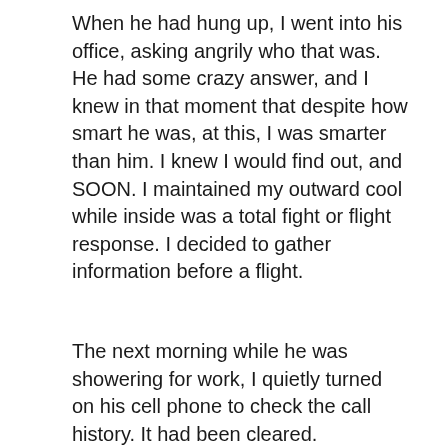When he had hung up, I went into his office, asking angrily who that was. He had some crazy answer, and I knew in that moment that despite how smart he was, at this, I was smarter than him. I knew I would find out, and SOON. I maintained my outward cool while inside was a total fight or flight response. I decided to gather information before a flight.
The next morning while he was showering for work, I quietly turned on his cell phone to check the call history. It had been cleared.
As soon as I'd gotten the kids off to school, I found some old cell phone records with a number that kept reappearing – a partial story. It took me four hours that